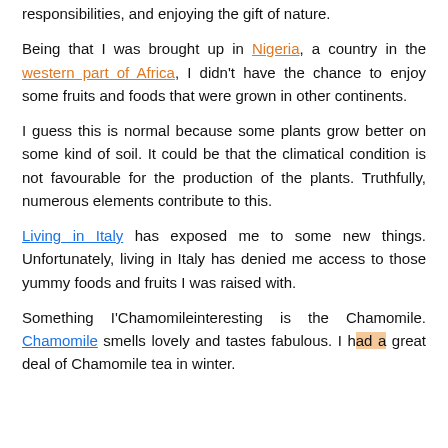responsibilities, and enjoying the gift of nature.
Being that I was brought up in Nigeria, a country in the western part of Africa, I didn't have the chance to enjoy some fruits and foods that were grown in other continents.
I guess this is normal because some plants grow better on some kind of soil. It could be that the climatical condition is not favourable for the production of the plants. Truthfully, numerous elements contribute to this.
Living in Italy has exposed me to some new things. Unfortunately, living in Italy has denied me access to those yummy foods and fruits I was raised with.
Something I'Chamomileinteresting is the Chamomile. Chamomile smells lovely and tastes fabulous. I had a great deal of Chamomile tea in winter.